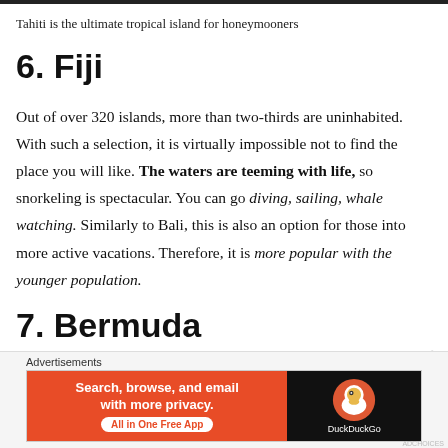Tahiti is the ultimate tropical island for honeymooners
6. Fiji
Out of over 320 islands, more than two-thirds are uninhabited. With such a selection, it is virtually impossible not to find the place you will like. The waters are teeming with life, so snorkeling is spectacular. You can go diving, sailing, whale watching. Similarly to Bali, this is also an option for those into more active vacations. Therefore, it is more popular with the younger population.
7. Bermuda
[Figure (screenshot): DuckDuckGo advertisement banner with orange left panel saying 'Search, browse, and email with more privacy. All in One Free App' and black right panel with DuckDuckGo logo]